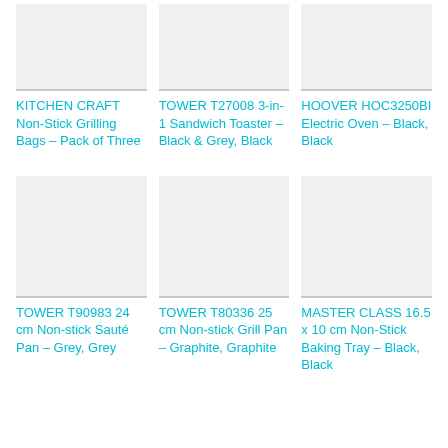[Figure (photo): Product image placeholder for KITCHEN CRAFT Non-Stick Grilling Bags]
KITCHEN CRAFT Non-Stick Grilling Bags – Pack of Three
[Figure (photo): Product image placeholder for TOWER T27008 3-in-1 Sandwich Toaster]
TOWER T27008 3-in-1 Sandwich Toaster – Black & Grey, Black
[Figure (photo): Product image placeholder for HOOVER HOC3250BI Electric Oven]
HOOVER HOC3250BI Electric Oven – Black, Black
[Figure (photo): Product image placeholder for TOWER T90983 24 cm Non-stick Sauté Pan]
TOWER T90983 24 cm Non-stick Sauté Pan – Grey, Grey
[Figure (photo): Product image placeholder for TOWER T80336 25 cm Non-stick Grill Pan]
TOWER T80336 25 cm Non-stick Grill Pan – Graphite, Graphite
[Figure (photo): Product image placeholder for MASTER CLASS 16.5 x 10 cm Non-Stick Baking Tray]
MASTER CLASS 16.5 x 10 cm Non-Stick Baking Tray – Black, Black